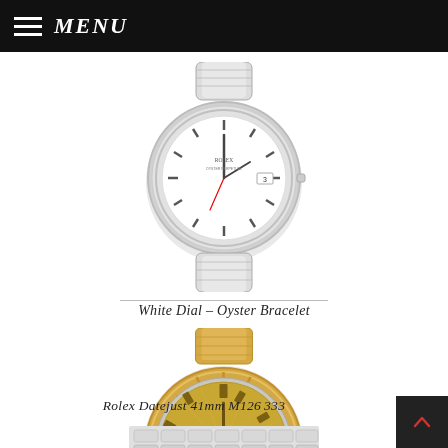MENU
[Figure (photo): Rolex Datejust watch with white dial and Oyster bracelet, stainless steel case and bracelet]
White Dial – Oyster Bracelet
[Figure (photo): Rolex Datejust 41mm M126333 watch with champagne/gold dial, fluted yellow gold bezel, two-tone Oyster bracelet]
Rolex Datejust 41mm M126333
[Figure (photo): Partial view of a third Rolex watch with Jubilee bracelet visible at bottom of page]